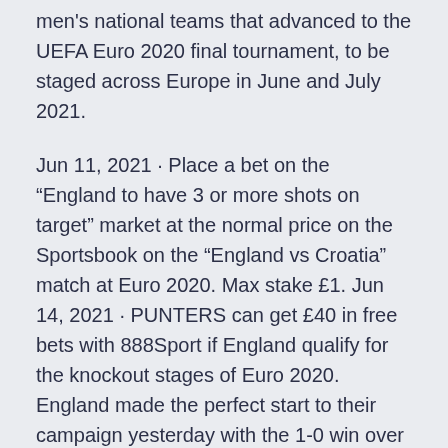men's national teams that advanced to the UEFA Euro 2020 final tournament, to be staged across Europe in June and July 2021.
Jun 11, 2021 · Place a bet on the “England to have 3 or more shots on target” market at the normal price on the Sportsbook on the “England vs Croatia” match at Euro 2020. Max stake £1. Jun 14, 2021 · PUNTERS can get £40 in free bets with 888Sport if England qualify for the knockout stages of Euro 2020. England made the perfect start to their campaign yesterday with the 1-0 win over Croatia.
Jun 08, 2021 · Euro 2020 is fast approaching and with it a group stage that might generously be